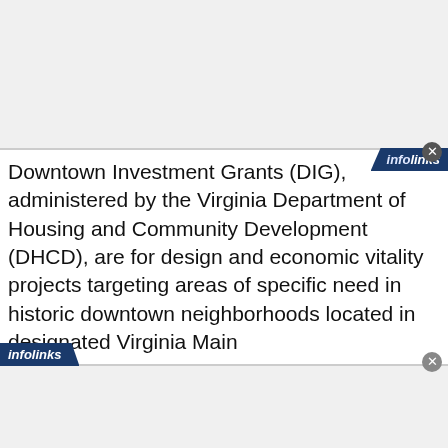Downtown Investment Grants (DIG), administered by the Virginia Department of Housing and Community Development (DHCD), are for design and economic vitality projects targeting areas of specific need in historic downtown neighborhoods located in designated Virginia Main
Street communities. These grants are available to designated Main Street organizations to accelerate the economic revitalization of their downtown districts by helping implement innovative strategies, plans, and programs that create an environment for increased private investment.